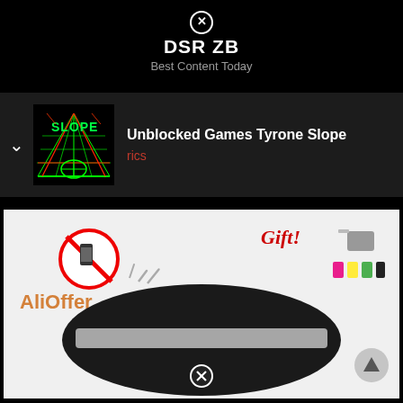DSR ZB
Best Content Today
[Figure (screenshot): Card row showing Slope game thumbnail with text 'Unblocked Games Tyrone Slope' and sub text 'rics', with a chevron arrow on the left]
[Figure (photo): Product listing image showing a black signal-blocking pouch/bag with a no-phone symbol and WiFi waves, 'AliOffer' branding in orange, and 'Gift!' text in red with phone accessories shown at top right. A close button and scroll-to-top button are overlaid.]